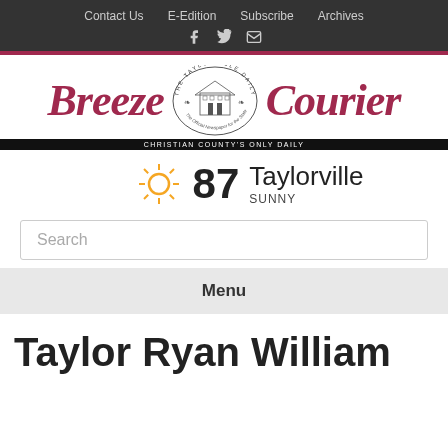Contact Us | E-Edition | Subscribe | Archives
[Figure (logo): Breeze-Courier newspaper logo with Taylorville Daily emblem in center]
87 Taylorville SUNNY
Search
Menu
Taylor Ryan William